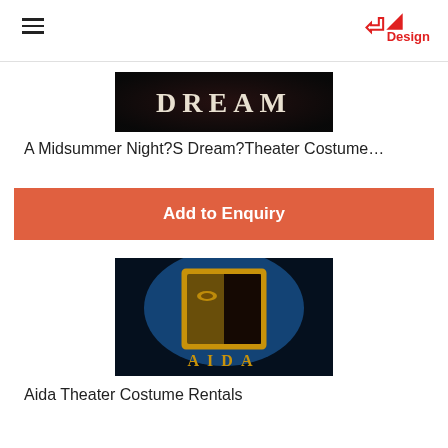Design
[Figure (photo): Black background image with the word DREAM in large serif letters, theatrical/show poster style]
A Midsummer Night?S Dream?Theater Costume…
Add to Enquiry
[Figure (photo): AIDA musical poster: golden face half in shadow against blue background, with AIDA text in gold at the bottom]
Aida Theater Costume Rentals